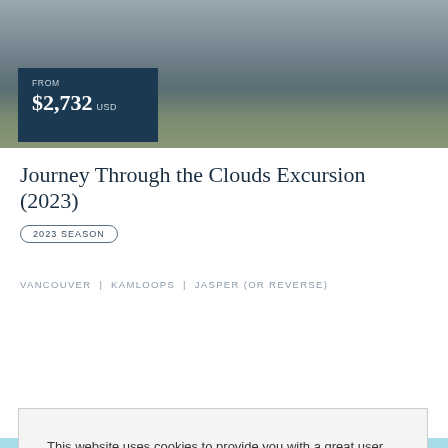[Figure (photo): Mountain landscape hero image with cloudy sky and dark peaks, used as header background]
FROM $2,732 USD
Journey Through the Clouds Excursion (2023)
2023 SEASON
VANCOUVER | KAMLOOPS | JASPER (OR REVERSE)
This website uses cookies to provide you with a great user experience. By using Rocky Mountaineer, you accept our privacy policy.
OKAY